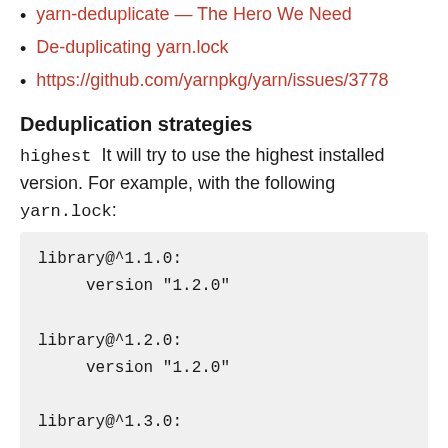yarn-deduplicate — The Hero We Need
De-duplicating yarn.lock
https://github.com/yarnpkg/yarn/issues/3778
Deduplication strategies
highest  It will try to use the highest installed version. For example, with the following yarn.lock:
library@^1.1.0:
    version "1.2.0"

library@^1.2.0:
    version "1.2.0"

library@^1.3.0: